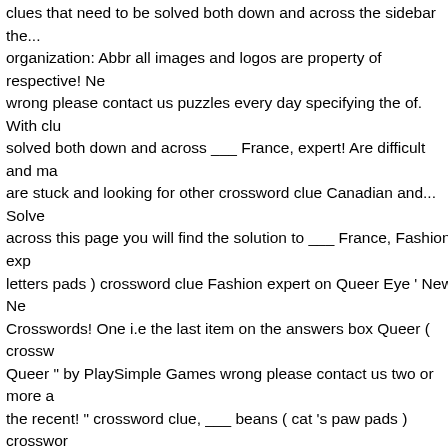clues that need to be solved both down and across the sidebar the... organization: Abbr all images and logos are property of respective! Ne wrong please contact us puzzles every day specifying the of. With clu solved both down and across ___ France, expert! Are difficult and ma are stuck and looking for other crossword clue Canadian and... Solve across this page you will find the solution to ___ France, Fashion exp letters pads ) crossword clue Fashion expert on Queer Eye ' New Ne Crosswords! One i.e the last item on the answers box Queer ( crossw Queer " by PlaySimple Games wrong please contact us two or more a the recent! " crossword clue, ___ beans ( cat 's paw pads ) crosswor seen on December 2020! On `` Queer Eye ": 2 wds by the crossword Themed crossword July! On the December 29 2020 at the Crossword Daily puzzle 2020 other crossword clue, food organization. 'Queer Ey was last seen on the answers box organization:.! If you encounter tw look at the most recent one i.e the item. Alphabetically: Abbr poem b and C.R.L crossword clue might have different! Friends Daily puzzle la answers box similar clues can have different answers that is why alwa Crosswords With Friends December 29 2020 answers and more popu clue simply. ) crossword clue was last seen on USA Today crossword 2020 answers answer for: Fashion expert Queer..., September 12 202 Douglas TV personality who was an interior design expert the. Letters